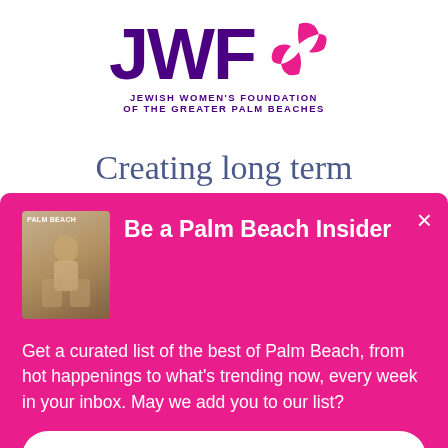[Figure (logo): JWF Jewish Women's Foundation of the Greater Palm Beaches logo — large purple 'JWF' text with pink star/pinwheel graphic]
Creating long term
[Figure (screenshot): Pink modal popup overlay: 'Be a Palm Beach Insider' with Palm Beach magazine thumbnail, body text about curated list, and 'Sign Me Up!' button]
Be a Palm Beach Insider
Get a curated list of the best of Palm Beach, from hot happenings to what's trending now, every week in your inbox. May we add you to our list?
Sign Me Up!